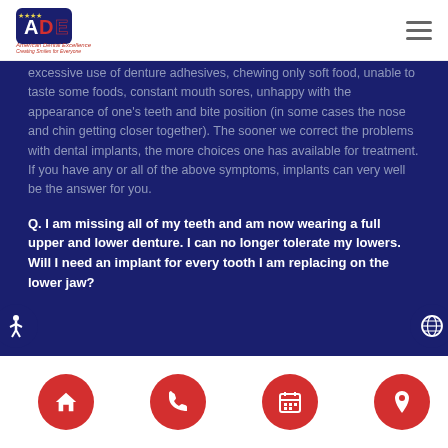American Dental Excellence — Creating Smiles for Everyone
excessive use of denture adhesives, chewing only soft food, unable to taste some foods, constant mouth sores, unhappy with the appearance of one's teeth and bite position (in some cases the nose and chin getting closer together). The sooner we correct the problems with dental implants, the more choices one has available for treatment. If you have any or all of the above symptoms, implants can very well be the answer for you.
Q. I am missing all of my teeth and am now wearing a full upper and lower denture. I can no longer tolerate my lowers. Will I need an implant for every tooth I am replacing on the lower jaw?
Navigation icons: home, phone, calendar, location